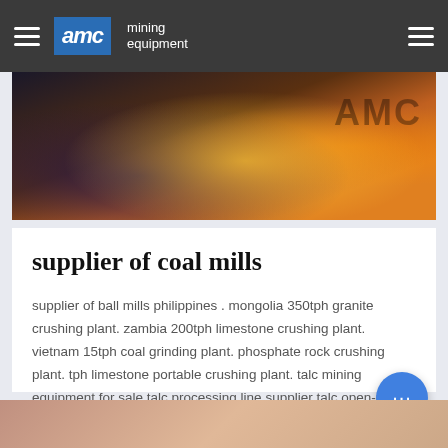AMC mining equipment
[Figure (photo): Industrial workshop photo showing sparks flying from metalworking/grinding equipment with AMC branding visible]
supplier of coal mills
supplier of ball mills philippines . mongolia 350tph granite crushing plant. zambia 200tph limestone crushing plant. vietnam 15tph coal grinding plant. phosphate rock crushing plant. tph limestone portable crushing plant. talc mining equipment for sale talc processing line supplier talc open-pit.... Chat Online